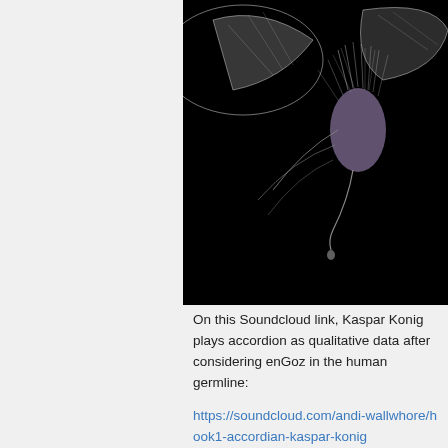[Figure (photo): Close-up photograph of an insect (likely a fly or mosquito) against a black background, with translucent wings visible and fibrous/hairy body parts.]
On this Soundcloud link, Kaspar Konig plays accordion as qualitative data after considering enGoz in the human germline:
https://soundcloud.com/andi-wallwhore/hook1-accordian-kaspar-konig